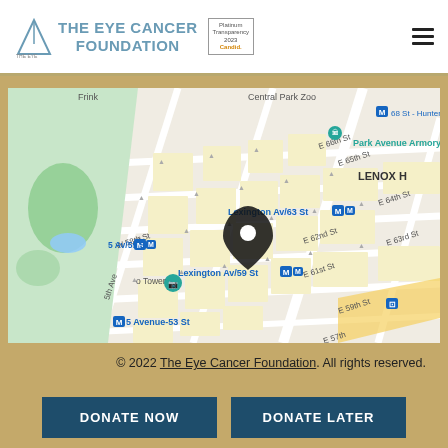THE EYE CANCER FOUNDATION
[Figure (map): Google Maps view of Upper East Side / Midtown Manhattan, New York City, showing streets around Lexington Av/63 St with a location pin marker. Visible labels: Central Park Zoo, Park Avenue Armory, LENOX H, 68 St - Hunter C, 5 Av/59 St M, Lexington Av/63 St M, Lexington Av/59 St M, E 66th St, E 65th St, E 64th St, E 63rd St, E 62nd St, E 61st St, E 59th St, E 57th, 5th Ave, W 58th St, o Tower, M 5 Avenue-53 St]
© 2022 The Eye Cancer Foundation. All rights reserved.
DONATE NOW
DONATE LATER